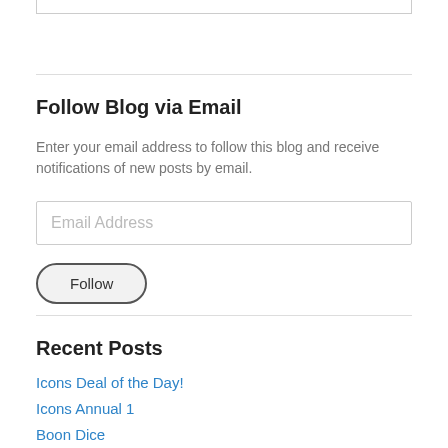Follow Blog via Email
Enter your email address to follow this blog and receive notifications of new posts by email.
Recent Posts
Icons Deal of the Day!
Icons Annual 1
Boon Dice
Save vs. Traps!
That's Wild